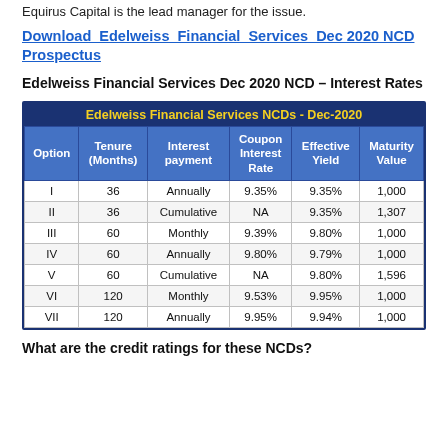Equirus Capital is the lead manager for the issue.
Download Edelweiss Financial Services Dec 2020 NCD Prospectus
Edelweiss Financial Services Dec 2020 NCD – Interest Rates
| Option | Tenure (Months) | Interest payment | Coupon Interest Rate | Effective Yield | Maturity Value |
| --- | --- | --- | --- | --- | --- |
| I | 36 | Annually | 9.35% | 9.35% | 1,000 |
| II | 36 | Cumulative | NA | 9.35% | 1,307 |
| III | 60 | Monthly | 9.39% | 9.80% | 1,000 |
| IV | 60 | Annually | 9.80% | 9.79% | 1,000 |
| V | 60 | Cumulative | NA | 9.80% | 1,596 |
| VI | 120 | Monthly | 9.53% | 9.95% | 1,000 |
| VII | 120 | Annually | 9.95% | 9.94% | 1,000 |
What are the credit ratings for these NCDs?